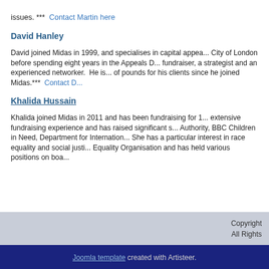issues. ***  Contact Martin here
David Hanley
David joined Midas in 1999, and specialises in capital appea... City of London before spending eight years in the Appeals D... fundraiser, a strategist and an experienced networker. He is... of pounds for his clients since he joined Midas.***  Contact D...
Khalida Hussain
Khalida joined Midas in 2011 and has been fundraising for 1... extensive fundraising experience and has raised significant s... Authority, BBC Children in Need, Department for Internation... She has a particular interest in race equality and social justi... Equality Organisation and has held various positions on boa...
Copyright  All Rights
Joomla template created with Artisteer.